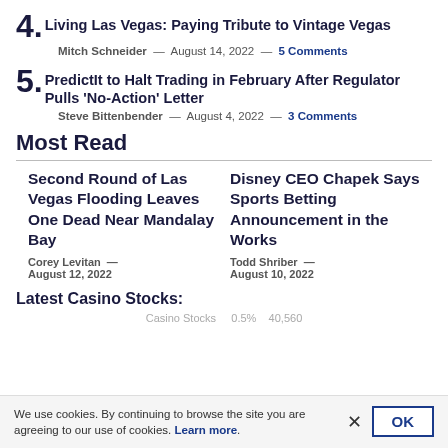4. Living Las Vegas: Paying Tribute to Vintage Vegas — Mitch Schneider — August 14, 2022 — 5 Comments
5. PredictIt to Halt Trading in February After Regulator Pulls 'No-Action' Letter — Steve Bittenbender — August 4, 2022 — 3 Comments
Most Read
Second Round of Las Vegas Flooding Leaves One Dead Near Mandalay Bay — Corey Levitan — August 12, 2022
Disney CEO Chapek Says Sports Betting Announcement in the Works — Todd Shriber — August 10, 2022
Latest Casino Stocks:
We use cookies. By continuing to browse the site you are agreeing to our use of cookies. Learn more.